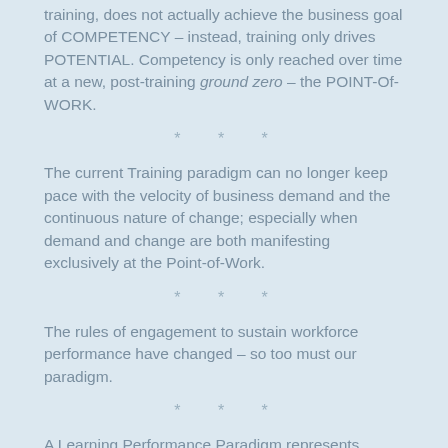training, does not actually achieve the business goal of COMPETENCY – instead, training only drives POTENTIAL. Competency is only reached over time at a new, post-training ground zero – the POINT-Of-WORK.
* * *
The current Training paradigm can no longer keep pace with the velocity of business demand and the continuous nature of change; especially when demand and change are both manifesting exclusively at the Point-of-Work.
* * *
The rules of engagement to sustain workforce performance have changed – so too must our paradigm.
* * *
A Learning Performance Paradigm represents disruptive innovation with direct implications on sustained workforce learning performance on a continuum that spans from Point-of-Entry to the Point-of-Work.